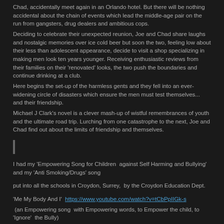Chad, accidentally meet again in an Orlando hotel. But there will be nothing accidental about the chain of events which lead the middle-age pair on the run from gangsters, drug dealers and ambitious cops.
Deciding to celebrate their unexpected reunion, Joe and Chad share laughs and nostalgic memories over ice cold beer but soon the two, feeling low about their less than adolescent appearance, decide to visit a shop specializing in making men look ten years younger. Receiving enthusiastic reviews from their families on their 'renovated' looks, the two push the boundaries and continue drinking at a club.
Here begins the set-up of the harmless gents and they fall into an ever-widening circle of disasters which ensure the men must test themselves... and their friendship.
Michael J Clark's novel is a clever mash-up of wistful remembrances of youth and the ultimate road trip. Lurching from one catastrophe to the next, Joe and Chad find out about the limits of friendship and themselves.
I had my 'Empowering Song for Children  against Self Harming and Bullying' and my 'Anti Smoking/Drugs' song
put into all the schools in Croydon, Surrey,  by the Croydon Education Dept.
'Me My Body And I'  https://www.youtube.com/watch?v=tCbPpIIGk-s  (an Empowering song  with Empowering words, to Empower the child, to 'Ignore'  the Bully)